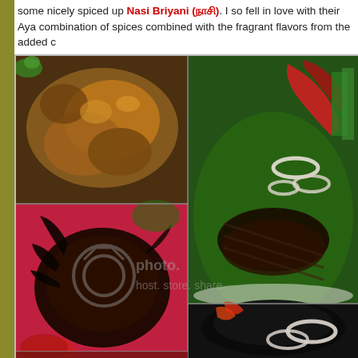some nicely spiced up Nasi Briyani (நாசி பிரியாணி). I so fell in love with their Aya combination of spices combined with the fragrant flavors from the added c
[Figure (photo): A collage of four food photos showing Malaysian/Indian dishes: top-left shows chicken in brown curry sauce, top-right shows grilled whole fish on banana leaf with red chili and onion rings, bottom-left shows a grilled/roasted whole crab or chicken dish, bottom-right shows a dark dish garnished with onion rings and red peppers. A photobucket watermark overlay is visible.]